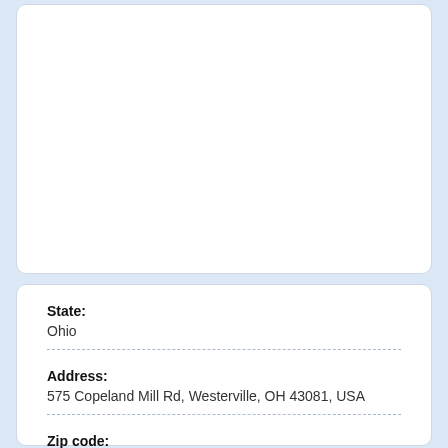State:
Ohio
Address:
575 Copeland Mill Rd, Westerville, OH 43081, USA
Zip code:
43081